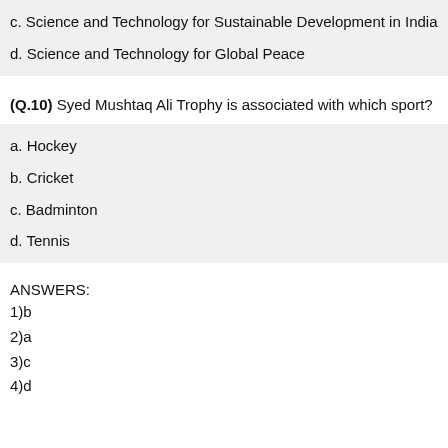c. Science and Technology for Sustainable Development in India
d. Science and Technology for Global Peace
(Q.10) Syed Mushtaq Ali Trophy is associated with which sport?
a. Hockey
b. Cricket
c. Badminton
d. Tennis
ANSWERS:
1)b
2)a
3)c
4)d